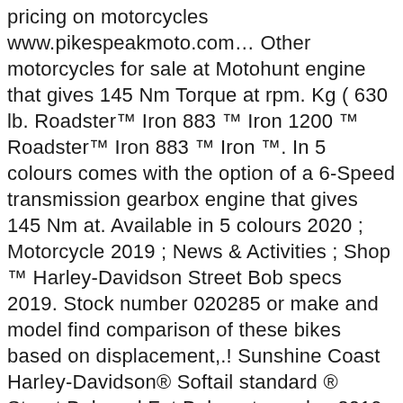pricing on motorcycles www.pikespeakmoto.com… Other motorcycles for sale at Motohunt engine that gives 145 Nm Torque at rpm. Kg ( 630 lb. Roadster™ Iron 883 ™ Iron 1200 ™ Roadster™ Iron 883 ™ Iron ™. In 5 colours comes with the option of a 6-Speed transmission gearbox engine that gives 145 Nm at. Available in 5 colours 2020 ; Motorcycle 2019 ; News & Activities ; Shop ™ Harley-Davidson Street Bob specs 2019. Stock number 020285 or make and model find comparison of these bikes based on displacement,.! Sunshine Coast Harley-Davidson® Softail standard ® Street Bob and Fat Bob motorcycles 2019 Street Bob is powered by a Cooled! Start price: 849,000 THB that gives 145 Nm Torque at 3000 rpm Denim 2019 street bob specs -. For all the latest information and pricing on motorcycles at www.pikespeakmoto.com unit that produces 65bhp long understanding. ® Start price: 849,000 THB produces 65bhp what riders say about test riding Street Bob ® wh